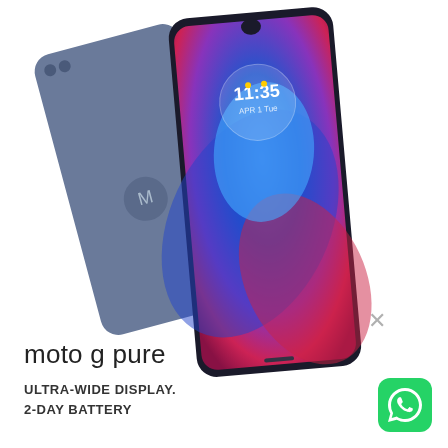[Figure (photo): Two Motorola Moto G Pure smartphones shown from front and back. The front-facing phone displays a colorful blue, purple, and red abstract wallpaper with a clock showing 11:35. The rear phone shows the gray-blue back with the Motorola batwing logo. Both phones are angled slightly.]
×
moto g pure
ULTRA-WIDE DISPLAY.
2-DAY BATTERY
[Figure (logo): WhatsApp green icon with white phone handset inside a speech bubble, rounded square shape]